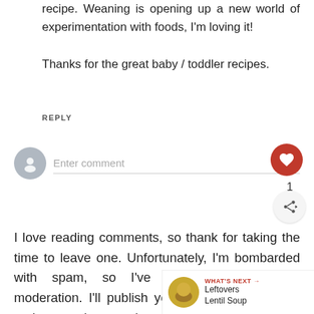recipe. Weaning is opening up a new world of experimentation with foods, I'm loving it!

Thanks for the great baby / toddler recipes.
REPLY
Enter comment
1
I love reading comments, so thank for taking the time to leave one. Unfortunately, I'm bombarded with spam, so I've turned on comment moderation. I'll publish your comments as soon as I can and respond to them. Don't worry, they'll all come out.
WHAT'S NEXT → Leftovers Lentil Soup